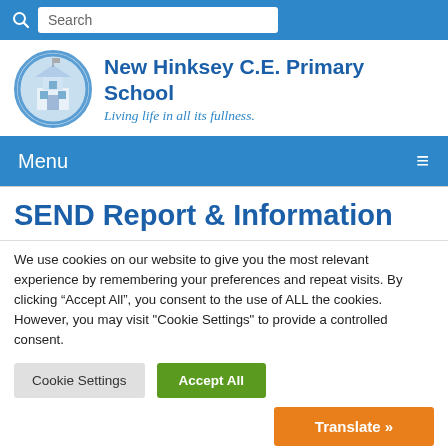Search
[Figure (logo): New Hinksey C.E. Primary School circular logo with school building illustration]
New Hinksey C.E. Primary School
Living life in all its fullness.
Menu
SEND Report & Information
We use cookies on our website to give you the most relevant experience by remembering your preferences and repeat visits. By clicking “Accept All”, you consent to the use of ALL the cookies. However, you may visit “Cookie Settings” to provide a controlled consent.
Cookie Settings
Accept All
Translate »